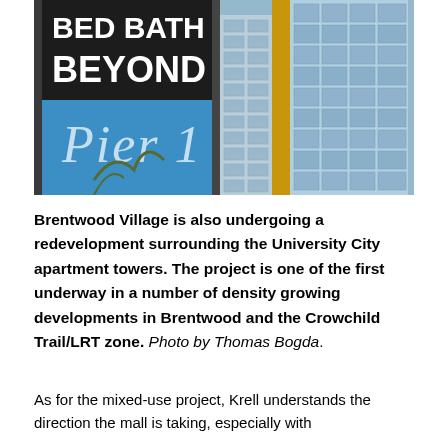[Figure (photo): Photo of a Bed Bath & Beyond sign (black background, white text) and Pier 1 sign (blue background, white italic text) on signage poles, with tall apartment/condo towers visible in the background against a light blue sky.]
Brentwood Village is also undergoing a redevelopment surrounding the University City apartment towers. The project is one of the first underway in a number of density growing developments in Brentwood and the Crowchild Trail/LRT zone. Photo by Thomas Bogda.
As for the mixed-use project, Krell understands the direction the mall is taking, especially with competition from Market Mall and online shopping.